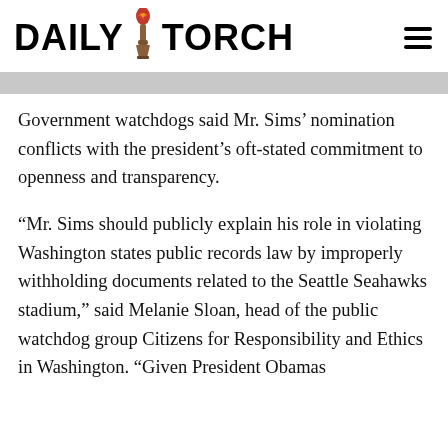DAILY TORCH
Government watchdogs said Mr. Sims’ nomination conflicts with the president’s oft-stated commitment to openness and transparency.
“Mr. Sims should publicly explain his role in violating Washington states public records law by improperly withholding documents related to the Seattle Seahawks stadium,” said Melanie Sloan, head of the public watchdog group Citizens for Responsibility and Ethics in Washington. “Given President Obamas